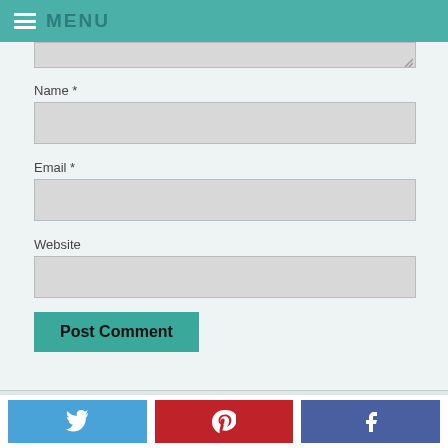≡ MENU
[Figure (screenshot): Partial text area input field at top of form]
Name *
[Figure (screenshot): Name text input field]
Email *
[Figure (screenshot): Email text input field]
Website
[Figure (screenshot): Website text input field]
[Figure (screenshot): Post Comment button]
[Figure (screenshot): Social share bar with Twitter, Pinterest, and Facebook buttons]